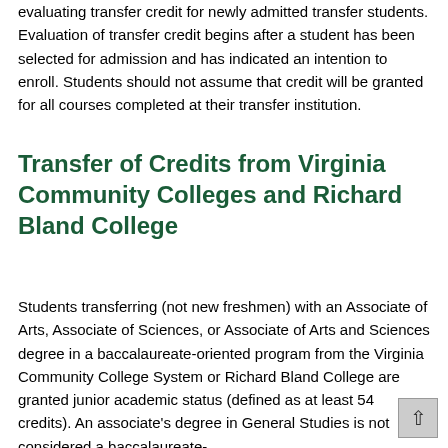evaluating transfer credit for newly admitted transfer students. Evaluation of transfer credit begins after a student has been selected for admission and has indicated an intention to enroll. Students should not assume that credit will be granted for all courses completed at their transfer institution.
Transfer of Credits from Virginia Community Colleges and Richard Bland College
Students transferring (not new freshmen) with an Associate of Arts, Associate of Sciences, or Associate of Arts and Sciences degree in a baccalaureate-oriented program from the Virginia Community College System or Richard Bland College are granted junior academic status (defined as at least 54 credits). An associate's degree in General Studies is not considered a baccalaureate-